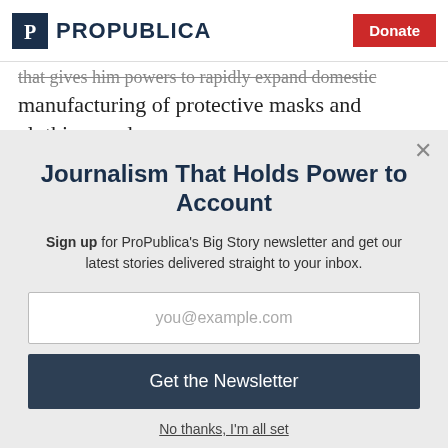ProPublica | Donate
that gives him powers to rapidly expand domestic manufacturing of protective masks and clothing, and
Journalism That Holds Power to Account
Sign up for ProPublica's Big Story newsletter and get our latest stories delivered straight to your inbox.
you@example.com
Get the Newsletter
No thanks, I'm all set
This site is protected by reCAPTCHA and the Google Privacy Policy and Terms of Service apply.